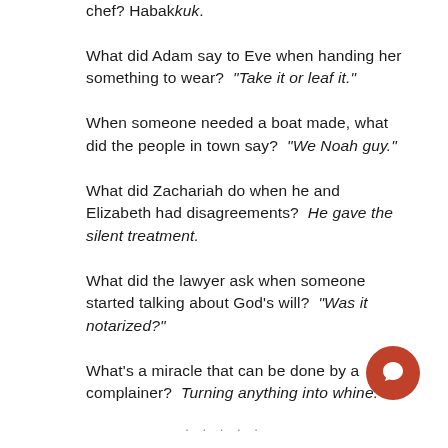chef? Habakkuk. What did Adam say to Eve when handing her something to wear? "Take it or leaf it." When someone needed a boat made, what did the people in town say? "We Noah guy." What did Zachariah do when he and Elizabeth had disagreements? He gave the silent treatment. What did the lawyer ask when someone started talking about God's will? "Was it notarized?" What's a miracle that can be done by a complainer? Turning anything into whine.
. . . . .